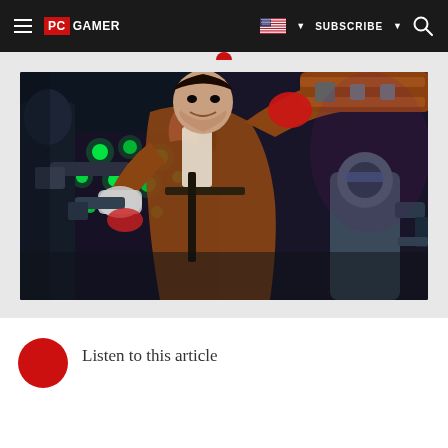PC GAMER — Navigation bar with hamburger menu, PC Gamer logo, US flag dropdown, SUBSCRIBE button, and search icon
[Figure (illustration): Video game illustration showing an armored male character in a brown trench coat wielding two guns, with glowing green lights in a dark sci-fi background and a robotic figure to the right]
Listen to this article